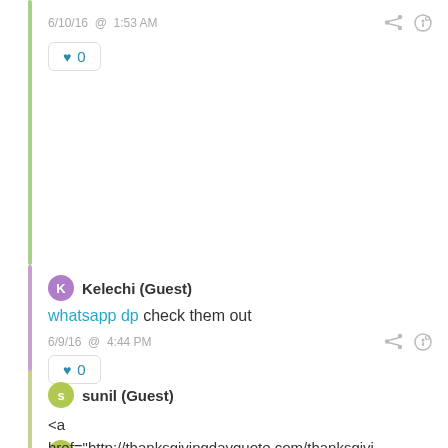6/10/16 @ 1:53 AM
♥ 0
Kelechi (Guest)
whatsapp dp check them out
6/9/16 @ 4:44 PM
♥ 0
sunil (Guest)
<a href="http://thanksgivingdayquote.com/thanksgiving-wishes/">Thanksgiving Wishes</a>